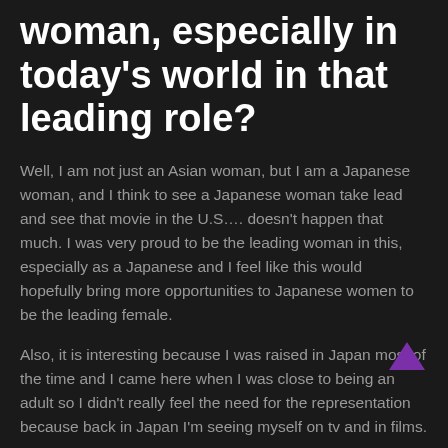woman, especially in today's world in that leading role?
Well, I am not just an Asian woman, but I am a Japanese woman, and I think to see a Japanese woman take lead and see that movie in the U.S…. doesn't happen that much. I was very proud to be the leading woman in this, especially as a Japanese and I feel like this would hopefully bring more opportunities to Japanese women to be the leading female.
Also, it is interesting because I was raised in Japan most of the time and I came here when I was close to being an adult so I didn't really feel the need for the representation because back in Japan I'm seeing myself on tv and in films.